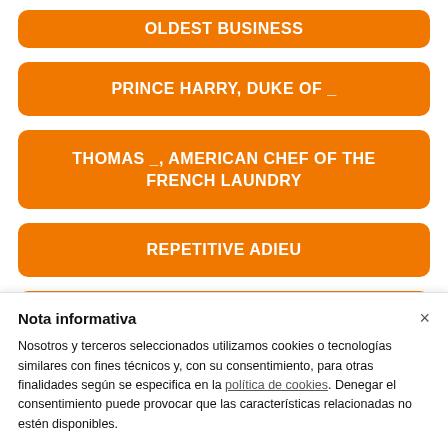OLDEST BUSINESS
PRINCE HARRY, DUKE OF _
THOMAS _, AMERICAN CHEF OF THE FRENCH LAUNDRY
REPETITIVE ADIEU
(partial, cut off)
Nota informativa
Nosotros y terceros seleccionados utilizamos cookies o tecnologías similares con fines técnicos y, con su consentimiento, para otras finalidades según se especifica en la política de cookies. Denegar el consentimiento puede provocar que las características relacionadas no estén disponibles.